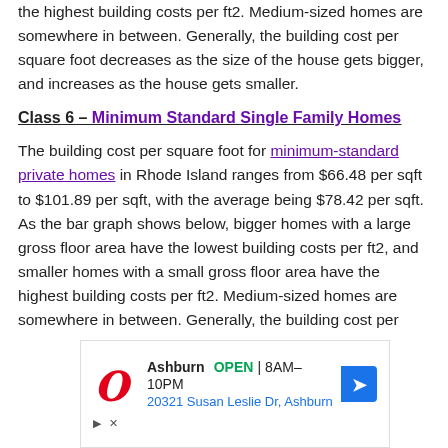the highest building costs per ft2. Medium-sized homes are somewhere in between. Generally, the building cost per square foot decreases as the size of the house gets bigger, and increases as the house gets smaller.
Class 6 – Minimum Standard Single Family Homes
The building cost per square foot for minimum-standard private homes in Rhode Island ranges from $66.48 per sqft to $101.89 per sqft, with the average being $78.42 per sqft. As the bar graph shows below, bigger homes with a large gross floor area have the lowest building costs per ft2, and smaller homes with a small gross floor area have the highest building costs per ft2. Medium-sized homes are somewhere in between. Generally, the building cost per
[Figure (other): Walgreens advertisement: Ashburn OPEN 8AM-10PM, 20321 Susan Leslie Dr, Ashburn]